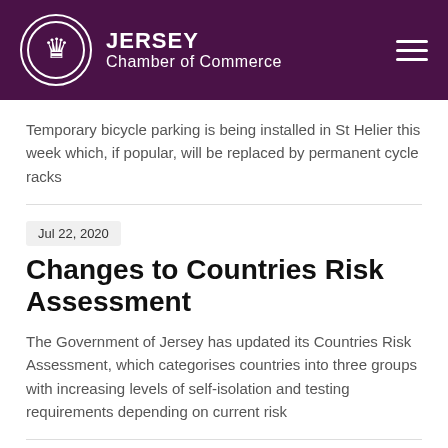JERSEY Chamber of Commerce
Temporary bicycle parking is being installed in St Helier this week which, if popular, will be replaced by permanent cycle racks
Jul 22, 2020
Changes to Countries Risk Assessment
The Government of Jersey has updated its Countries Risk Assessment, which categorises countries into three groups with increasing levels of self-isolation and testing requirements depending on current risk